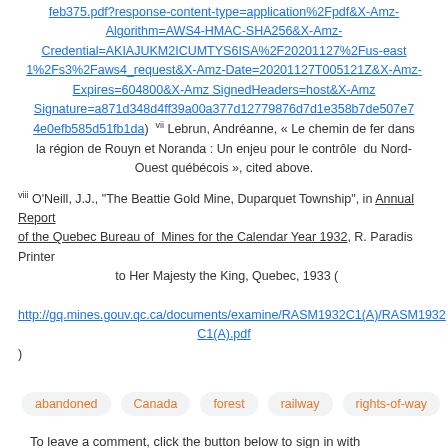feb375.pdf?response-content-type=application%2Fpdf&X-Amz-Algorithm=AWS4-HMAC-SHA256&X-Amz-Credential=AKIAJUKM2ICUMTYS6ISA%2F20201127%2Fus-east1%2Fs3%2Faws4_request&X-Amz-Date=20201127T005121Z&X-Amz-Expires=604800&X-Amz SignedHeaders=host&X-Amz-Signature=a871d348d4ff39a00a377d12779876d7d1e358b7de507e74e0efb585d51fb1da) vii Lebrun, Andréanne, « Le chemin de fer dans la région de Rouyn et Noranda : Un enjeu pour le contrôle du Nord-Ouest québécois », cited above.
viii O'Neill, J.J., "The Beattie Gold Mine, Duparquet Township", in Annual Report of the Quebec Bureau of Mines for the Calendar Year 1932, R. Paradis Printer to Her Majesty the King, Quebec, 1933 ( http://gq.mines.gouv.qc.ca/documents/examine/RASM1932C1(A)/RASM1932C1(A).pdf)
abandoned
Canada
forest
railway
rights-of-way
To leave a comment, click the button below to sign in with Google.